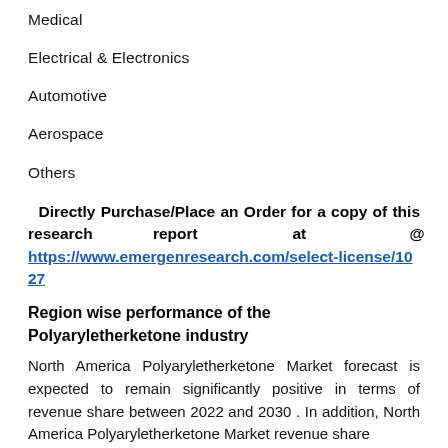Medical
Electrical & Electronics
Automotive
Aerospace
Others
Directly Purchase/Place an Order for a copy of this research report at @ https://www.emergenresearch.com/select-license/1027
Region wise performance of the Polyaryletherketone industry
North America Polyaryletherketone Market forecast is expected to remain significantly positive in terms of revenue share between 2022 and 2030 . In addition, North America Polyaryletherketone Market revenue share